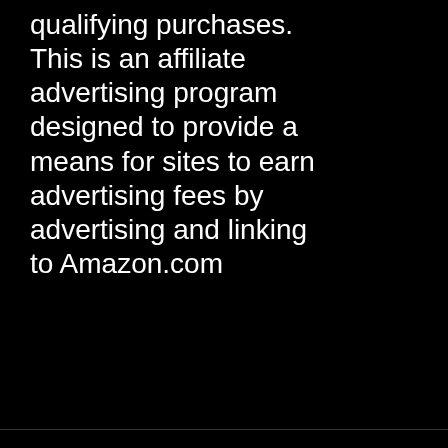qualifying purchases. This is an affiliate advertising program designed to provide a means for sites to earn advertising fees by advertising and linking to Amazon.com